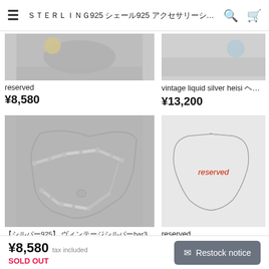≡   Sterling925 シルバー液体シルバーheisi | Mi... 🔍 🛒
[Figure (photo): Partial product photo top-left, jewelry item clipped at top]
reserved
¥8,580
[Figure (photo): Partial product photo top-right, jewelry item clipped at top]
vintage liquid silver heisi ヘ…
¥13,200
[Figure (photo): Silver bar and bead link bracelet/necklace on gray background]
【シルバー925】 ヴィンテージシルバーbar3…
¥9,130
[Figure (photo): Thin silver chain necklace on white background with red 'reserved' text overlay]
reserved
¥5,280
¥8,580  tax included  SOLD OUT   ✉ Restock notice